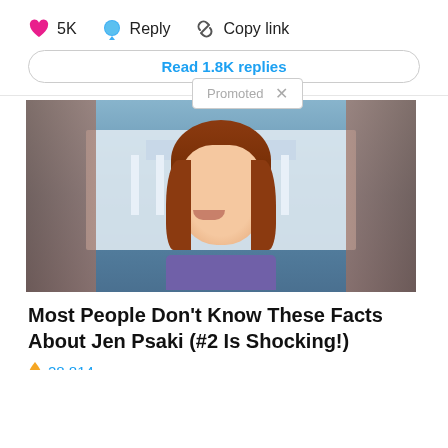5K  Reply  Copy link
Read 1.8K replies
Promoted
[Figure (photo): Photo of Jen Psaki smiling, with red hair, in front of a white government building backdrop]
Most People Don't Know These Facts About Jen Psaki (#2 Is Shocking!)
28,814
[Figure (photo): Photo of murky flood water with a floating object, likely related to Camp Lejeune contamination]
More Camp Lejeune Claims Are Now Being Accepted
965